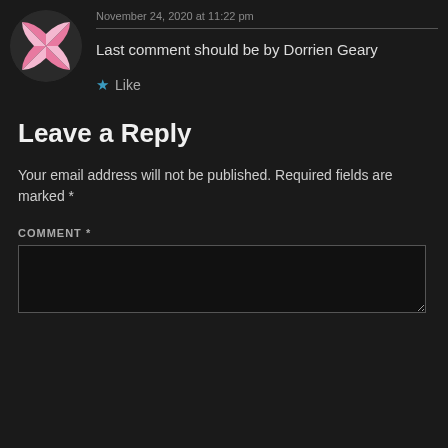[Figure (illustration): Circular avatar with pink and white geometric pinwheel pattern on dark background]
November 24, 2020 at 11:22 pm
Last comment should be by Dorrien Geary
★ Like
Leave a Reply
Your email address will not be published. Required fields are marked *
COMMENT *